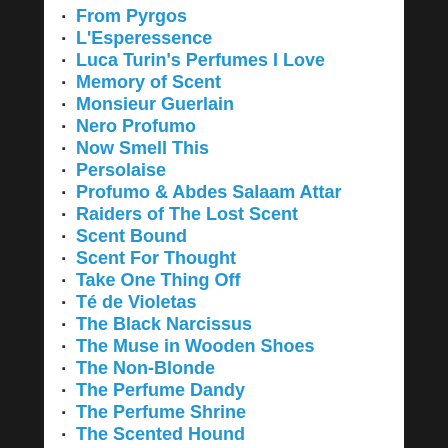From Pyrgos
L'Esperessence
Luca Turin's Perfumes I Love
Memory of Scent
Monsieur Guerlain
Nero Profumo
Now Smell This
Persolaise
Profumo & Abdes Salaam Attar
Raiders of The Lost Scent
Scent Bound
Scent For Thought
Take One Thing Off
Té de Violetas
The Black Narcissus
The Muse in Wooden Shoes
The Non-Blonde
The Perfume Dandy
The Perfume Shrine
The Scented Hound
The Silver Fox
The Smelly Vagabond